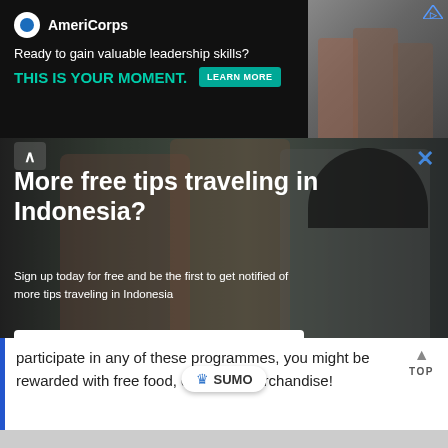[Figure (screenshot): AmeriCorps advertisement banner: dark background with AmeriCorps logo, tagline 'Ready to gain valuable leadership skills?', bold teal text 'THIS IS YOUR MOMENT.', green 'LEARN MORE' button, and photo of people on the right side. Blue triangle ad icon in top right corner.]
[Figure (screenshot): Email subscription modal popup over photo of three women travelers. Modal contains large white bold text 'More free tips traveling in Indonesia?', subtitle 'Sign up today for free and be the first to get notified of more tips traveling in Indonesia', an email input field, a blue 'Free Subscribe' button, and a 'no, thanks' dismiss link. X close button and caret up button visible.]
participate in any of these programmes, you might be rewarded with free food, drinks or merchandise!
[Figure (logo): SUMO badge with crown icon and text 'SUMO' on white pill-shaped background]